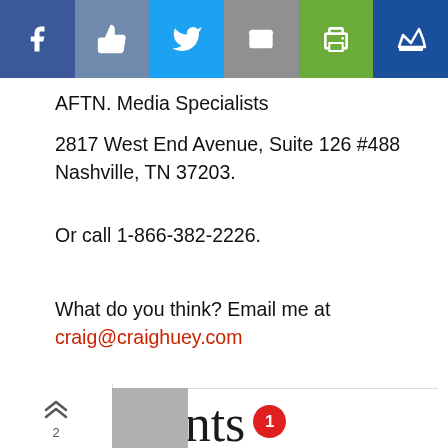[Figure (screenshot): Social media sharing bar with Facebook, Like, Twitter, Email, Print, and Crown buttons]
AFTN. Media Specialists
2817 West End Avenue, Suite 126 #488
Nashville, TN 37203.
Or call 1-866-382-2226.
What do you think? Email me at craig@craighuey.com
Comments 1
2